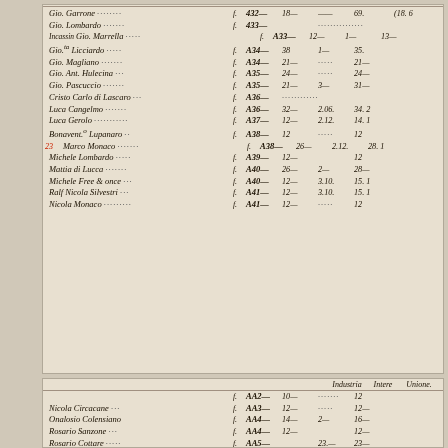[Figure (photo): Upper portion: Handwritten historical ledger page in Italian cursive script showing names and numerical entries (amounts) across columns. Rows include names like Gio Barrone, Gio Lombardo, Gio Marrella, Gio.ta Licciardo, Gio Magliano, Gio.Ant. Hulecina, Gio Pascuccio, Cristo Carlo di Lascaro, Luca Cangelmo, Luca Gerolo, Bonaventura Lupanaro, Marco Monaco (with red annotation 23), Michele Lombardo, Mattia di Lucca, Michele Freemantle, Ralf Nicola Silvestri, Nicola Monaco. Numbers in columns include entry numbers (432-441) and monetary values.]
[Figure (photo): Lower portion: Handwritten historical ledger page continuation with column headers 'Industria / Intere / Unione' and entries including names Nicola Circacane, Onalosio Colensiano, Rosario Sanzone, Rosario Cottare, with entry numbers AA2-AA5 and numerical values.]